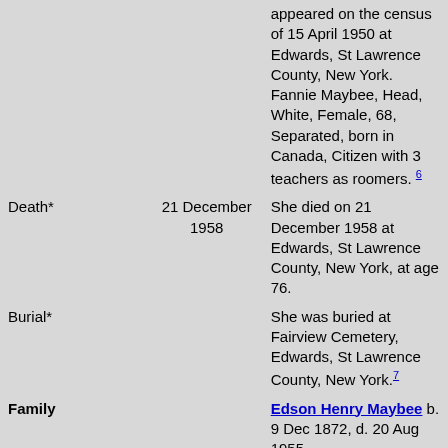appeared on the census of 15 April 1950 at Edwards, St Lawrence County, New York. Fannie Maybee, Head, White, Female, 68, Separated, born in Canada, Citizen with 3 teachers as roomers. [6]
Death* 21 December 1958 — She died on 21 December 1958 at Edwards, St Lawrence County, New York, at age 76.
Burial* — She was buried at Fairview Cemetery, Edwards, St Lawrence County, New York. [7]
Family Edson Henry Maybee b. 9 Dec 1872, d. 20 Aug 1955
Children Merton Daniel Maybee+ b. 29 Nov 1903, d. 27 Jul 1975
Merlo D. Maybee+ b. 8 Aug 1912, d.